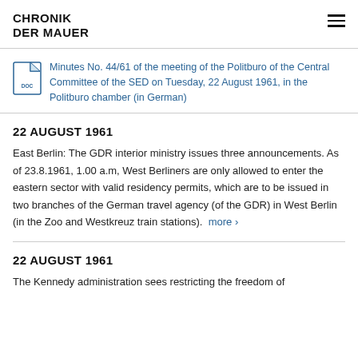CHRONIK DER MAUER
Minutes No. 44/61 of the meeting of the Politburo of the Central Committee of the SED on Tuesday, 22 August 1961, in the Politburo chamber (in German)
22 AUGUST 1961
East Berlin: The GDR interior ministry issues three announcements. As of 23.8.1961, 1.00 a.m, West Berliners are only allowed to enter the eastern sector with valid residency permits, which are to be issued in two branches of the German travel agency (of the GDR) in West Berlin (in the Zoo and Westkreuz train stations). more ›
22 AUGUST 1961
The Kennedy administration sees restricting the freedom of